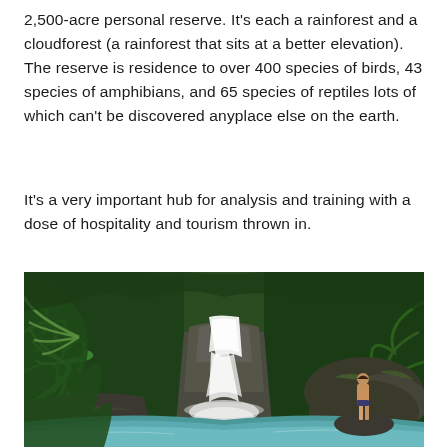2,500-acre personal reserve. It's each a rainforest and a cloudforest (a rainforest that sits at a better elevation). The reserve is residence to over 400 species of birds, 43 species of amphibians, and 65 species of reptiles lots of which can't be discovered anyplace else on the earth.
It's a very important hub for analysis and training with a dose of hospitality and tourism thrown in.
[Figure (photo): A tropical rainforest waterfall scene with lush green vegetation on both sides, a cascading white waterfall over dark rocks into a turquoise pool, and a person standing on a rock to the right viewing the waterfall.]